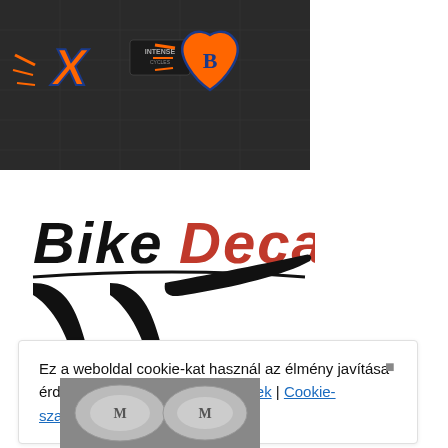[Figure (photo): Dark background product image showing bike decal stickers with orange, blue and white designs, including 'INTENSE' branding text]
[Figure (logo): BikeDecal logo — 'Bike' in black bold italic and 'Decal' in red bold italic, with a large black swoosh/checkmark graphic beneath the text]
Ez a weboldal cookie-kat használ az élmény javítása érdekében. Adatvédelmi irányelvek | Cookie-szabályzat
[Figure (photo): Partial bottom image showing dark metallic/chrome bike decal graphics]